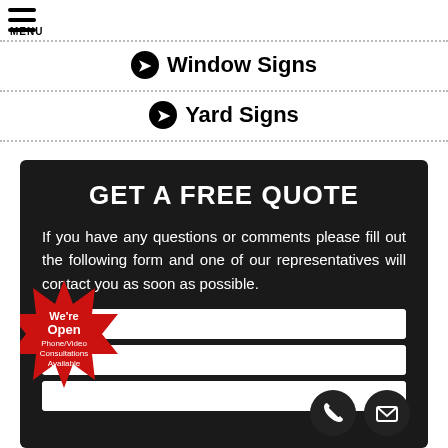MENU
Window Signs
Yard Signs
GET A FREE QUOTE
If you have any questions or comments please fill out the following form and one of our representatives will contact you as soon as possible.
[Figure (infographic): Red starburst badge with text: We're Open Phone/Video Consultations Available]
[Figure (infographic): Phone and envelope contact icon circles]